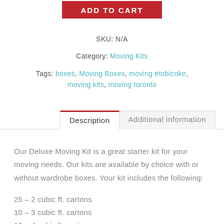[Figure (other): Red ADD TO CART button]
SKU: N/A
Category: Moving Kits
Tags: boxes, Moving Boxes, moving etobicoke, moving kits, moving toronto
Description | Additional information
Our Deluxe Moving Kit is a great starter kit for your moving needs. Our kits are available by choice with or without wardrobe boxes. Your kit includes the following:
25 – 2 cubic ft. cartons
10 – 3 cubic ft. cartons
10 – 4 cubic ft. cartons